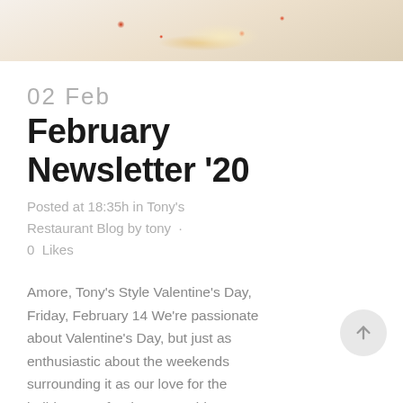[Figure (photo): Food photo at the top showing a plated dish on a white plate with colorful garnishes and red berries/drops]
02 Feb
February Newsletter '20
Posted at 18:35h in Tony's Restaurant Blog by tony · 0 Likes
Amore, Tony's Style Valentine's Day, Friday, February 14 We're passionate about Valentine's Day, but just as enthusiastic about the weekends surrounding it as our love for the holiday runs for days. Consider declaring your love early; beat...